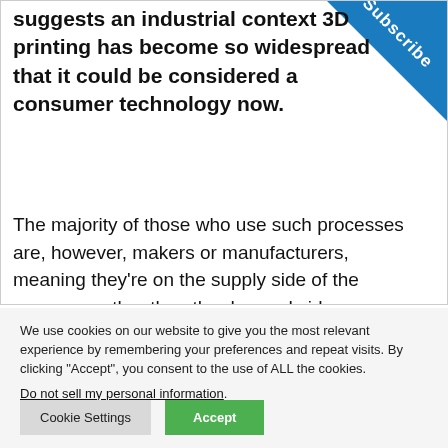suggests an industrial context 3D printing has become so widespread that it could be considered a consumer technology now.
The majority of those who use such processes are, however, makers or manufacturers, meaning they're on the supply side of the economy rather than the demand side.
We use cookies on our website to give you the most relevant experience by remembering your preferences and repeat visits. By clicking "Accept", you consent to the use of ALL the cookies.
Do not sell my personal information.